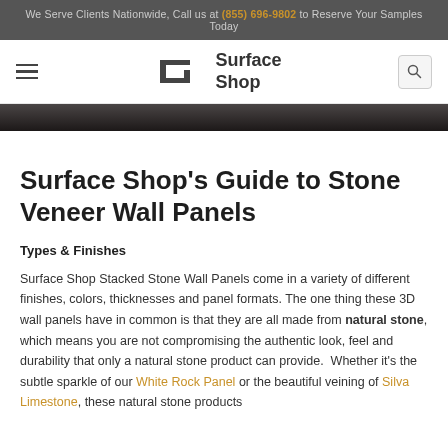We Serve Clients Nationwide, Call us at (855) 696-9802 to Reserve Your Samples Today
[Figure (logo): Surface Shop logo with stylized bracket icon and text 'Surface Shop']
[Figure (photo): Dark stone/wood hero image strip]
Surface Shop's Guide to Stone Veneer Wall Panels
Types & Finishes
Surface Shop Stacked Stone Wall Panels come in a variety of different finishes, colors, thicknesses and panel formats. The one thing these 3D wall panels have in common is that they are all made from natural stone, which means you are not compromising the authentic look, feel and durability that only a natural stone product can provide. Whether it's the subtle sparkle of our White Rock Panel or the beautiful veining of Silva Limestone, these natural stone products